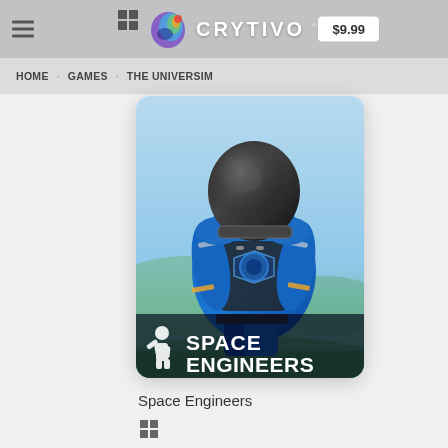Crytivo — $9.99
HOME / GAMES / THE UNIVERSIM
[Figure (screenshot): Space Engineers game cover art showing an astronaut in a blue spacesuit with a scenic green landscape background. White 'SPACE ENGINEERS' logo text at the bottom of the image.]
Space Engineers